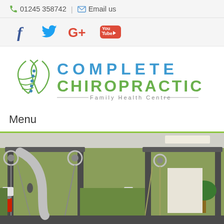01245 358742 | Email us
[Figure (other): Social media icons: Facebook, Twitter, Google+, YouTube]
[Figure (logo): Complete Chiropractic Family Health Centre logo with spine graphic and blue/green text]
Menu
[Figure (photo): Interior photo of a chiropractic/rehabilitation gym with cable machine equipment, pulleys and chains against green walls]